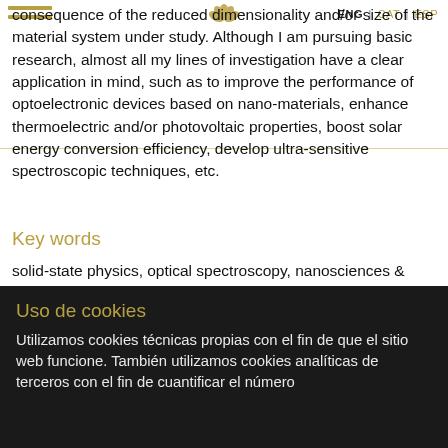ENG | CAT | ESP
consequence of the reduced dimensionality and/or size of the material system under study. Although I am pursuing basic research, almost all my lines of investigation have a clear application in mind, such as to improve the performance of optoelectronic devices based on nano-materials, enhance thermoelectric and/or photovoltaic properties, boost solar energy conversion efficiency, develop ultra-sensitive spectroscopic techniques, etc.
Key words
solid-state physics, optical spectroscopy, nanosciences & nanotechnology, high-pressure physics
ORCID
Uso de cookies
Utilizamos cookies técnicas propias con el fin de que el sitio web funcione. También utilizamos cookies analíticas de terceros con el fin de cuantificar el número